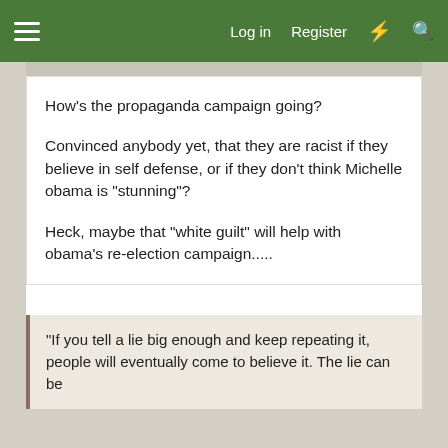Log in  Register
How's the propaganda campaign going?

Convinced anybody yet, that they are racist if they believe in self defense, or if they don't think Michelle obama is "stunning"?

Heck, maybe that "white guilt" will help with obama's re-election campaign.....
“If you tell a lie big enough and keep repeating it, people will eventually come to believe it. The lie can be